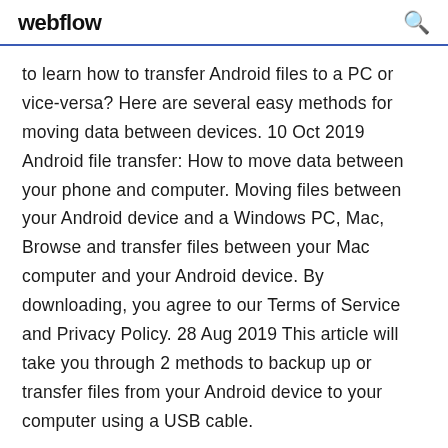webflow
to learn how to transfer Android files to a PC or vice-versa? Here are several easy methods for moving data between devices. 10 Oct 2019 Android file transfer: How to move data between your phone and computer. Moving files between your Android device and a Windows PC, Mac,  Browse and transfer files between your Mac computer and your Android device. By downloading, you agree to our Terms of Service and Privacy Policy. 28 Aug 2019 This article will take you through 2 methods to backup up or transfer files from your Android device to your computer using a USB cable.